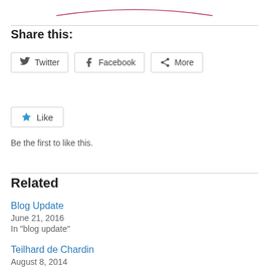[Figure (illustration): Partial decorative image at top, showing a pink/red curved line or decoration on white background]
Share this:
Twitter  Facebook  More
Like
Be the first to like this.
Related
Blog Update
June 21, 2016
In "blog update"
Teilhard de Chardin
August 8, 2014
In "Prayer"